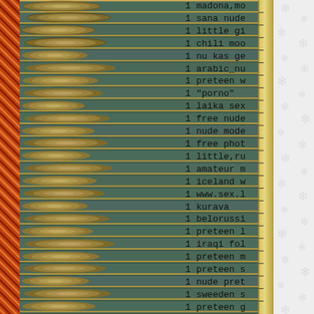[Figure (photo): Left side shows a decorative knitted/woven border pattern in orange/brown colors, followed by a stack of horizontal wooden logs photographed from the end, showing circular cross-sections. A vertical ruler/scale strip separates the logs from the text content.]
| count | query |
| --- | --- |
| 1 | madona,mo... |
| 1 | sana nude... |
| 1 | little gi... |
| 1 | chili moo... |
| 1 | nu kas ge... |
| 1 | arabic_nu... |
| 1 | preteen w... |
| 1 | "porno" |
| 1 | laika sex... |
| 1 | free nude... |
| 1 | nude mode... |
| 1 | free phot... |
| 1 | little,ru... |
| 1 | amateur m... |
| 1 | iceland w... |
| 1 | www.sex.l... |
| 1 | kurava |
| 1 | belorussi... |
| 1 | preteen l... |
| 1 | iraqi fol... |
| 1 | preteen m... |
| 1 | preteen s... |
| 1 | nude pret... |
| 1 | sweeden s... |
| 1 | preteen g... |